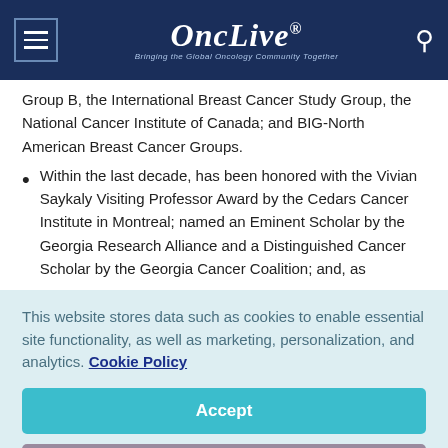OncLive - Bringing the Global Oncology Community Together
Group B, the International Breast Cancer Study Group, the National Cancer Institute of Canada; and BIG-North American Breast Cancer Groups.
Within the last decade, has been honored with the Vivian Saykaly Visiting Professor Award by the Cedars Cancer Institute in Montreal; named an Eminent Scholar by the Georgia Research Alliance and a Distinguished Cancer Scholar by the Georgia Cancer Coalition; and, as
This website stores data such as cookies to enable essential site functionality, as well as marketing, personalization, and analytics. Cookie Policy
Accept
Deny